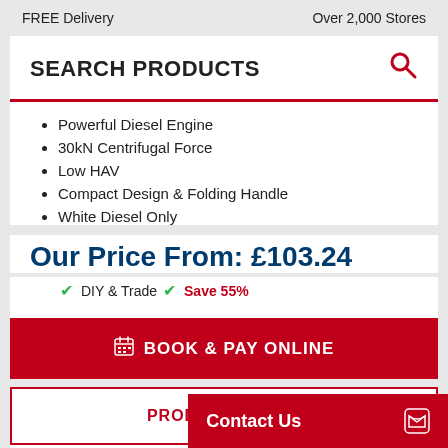FREE Delivery    Over 2,000 Stores
SEARCH PRODUCTS
Powerful Diesel Engine
30kN Centrifugal Force
Low HAV
Compact Design & Folding Handle
White Diesel Only
Our Price From: £103.24
✓ DIY & Trade  ✓ Save 55%
BOOK & PAY ONLINE
PRODUCT DETAIL
FREE Deliv...
Contact Us